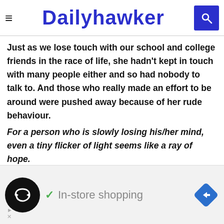Dailyhawker
Just as we lose touch with our school and college friends in the race of life, she hadn't kept in touch with many people either and so had nobody to talk to. And those who really made an effort to be around were pushed away because of her rude behaviour.
For a person who is slowly losing his/her mind, even a tiny flicker of light seems like a ray of hope.
While browsing social media pages, she often came across her classmate's profile which was filled with posts of an activity she indulged in- soap making! Her creations were fascinating and although it seemed like a lot of rt. Rutika decided to give it a try.
In-store shopping